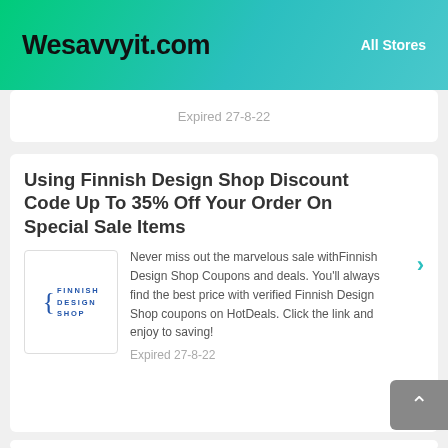Wesavvyit.com | All Stores
Expired 27-8-22
Using Finnish Design Shop Discount Code Up To 35% Off Your Order On Special Sale Items
Never miss out the marvelous sale withFinnish Design Shop Coupons and deals. You'll always find the best price with verified Finnish Design Shop coupons on HotDeals. Click the link and enjoy to saving!
Expired 27-8-22